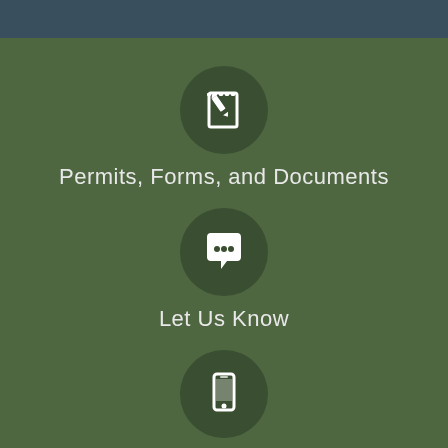[Figure (illustration): Circular dark green icon with white notebook and pencil symbol]
Permits, Forms, and Documents
[Figure (illustration): Circular dark green icon with white speech bubble with three dots]
Let Us Know
[Figure (illustration): Circular dark green icon with white smartphone symbol]
Notify Me®
[Figure (illustration): Circular dark green icon with white map/location pin symbol]
Maps